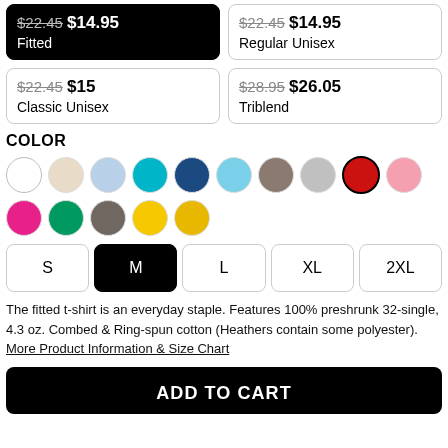$22.45 $14.95 Fitted
$22.45 $14.95 Regular Unisex
$22.45 $15 Classic Unisex
$28.95 $26.05 Triblend
COLOR
[Figure (infographic): Color swatches: white, cream, light blue, teal/cyan, navy blue, sky blue, taupe, light gray, red (selected), pink, hot pink, green, olive/dark gray, yellow, golden yellow]
S M L XL 2XL
The fitted t-shirt is an everyday staple. Features 100% preshrunk 32-single, 4.3 oz. Combed & Ring-spun cotton (Heathers contain some polyester). More Product Information & Size Chart
ADD TO CART